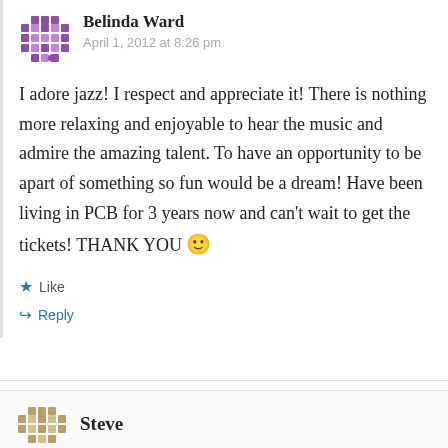Belinda Ward
April 1, 2012 at 8:26 pm
I adore jazz! I respect and appreciate it! There is nothing more relaxing and enjoyable to hear the music and admire the amazing talent. To have an opportunity to be apart of something so fun would be a dream! Have been living in PCB for 3 years now and can't wait to get the tickets! THANK YOU 🙂
Like
Reply
Steve